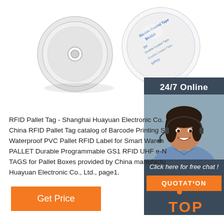[Figure (photo): Two RFID pallet tags: a white circular coin-style RFID tag with center hole (left), and a circular adhesive RFID label with 3M 9448A double-coated tape backing (right)]
[Figure (photo): 24/7 Online chat support sidebar with photo of smiling female customer service agent wearing headset, dark blue background, with 'Click here for free chat!' text and orange QUOTATION button]
RFID Pallet Tag - Shanghai Huayuan Electronic Co. China RFID Pallet Tag catalog of Barcode Printing S Waterproof PVC Pallet RFID Label for Smart Wareh PALLET Durable Programmable GS1 RFID UHF e-N TAGS for Pallet Boxes provided by China manufactu Huayuan Electronic Co., Ltd., page1.
[Figure (logo): TOP logo with orange dots arranged in arc above bold orange text 'TOP']